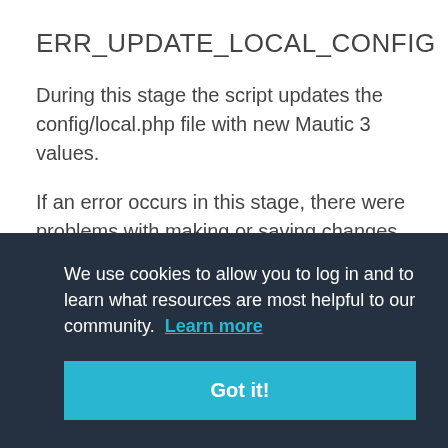ERR_UPDATE_LOCAL_CONFIG
During this stage the script updates the config/local.php file with new Mautic 3 values.
If an error occurs in this stage, there were problems with making or saving changes to the
We use cookies to allow you to log in and to learn what resources are most helpful to our community.  Learn more
Got it!
when an upgrade has started.